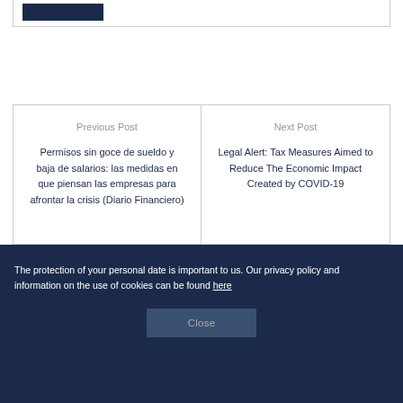[Figure (other): Dark navy blue rectangular block, partial view at top of page]
Previous Post
Permisos sin goce de sueldo y baja de salarios: las medidas en que piensan las empresas para afrontar la crisis (Diario Financiero)
Next Post
Legal Alert: Tax Measures Aimed to Reduce The Economic Impact Created by COVID-19
The protection of your personal date is important to us. Our privacy policy and information on the use of cookies can be found here
Close